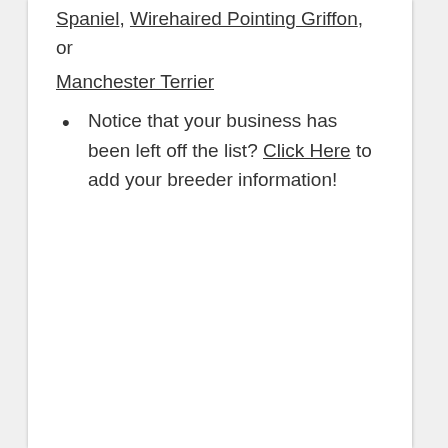Spaniel, Wirehaired Pointing Griffon, or Manchester Terrier
Notice that your business has been left off the list? Click Here to add your breeder information!